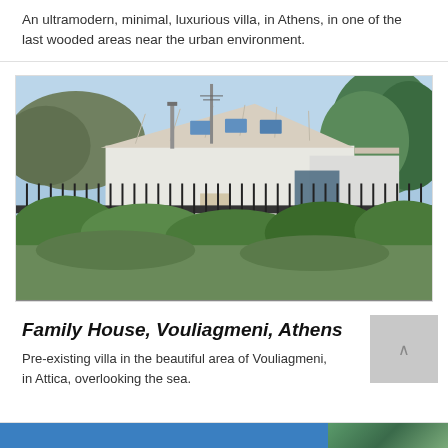An ultramodern, minimal, luxurious villa, in Athens, in one of the last wooded areas near the urban environment.
[Figure (photo): Exterior photo of a modern white villa with tiled roof and skylights, surrounded by trees and an iron fence, with green vegetation in the foreground.]
Family House, Vouliagmeni, Athens
Pre-existing villa in the beautiful area of Vouliagmeni, in Attica, overlooking the sea.
[Figure (photo): Partial view of next property listing showing a blue section and outdoor photo.]